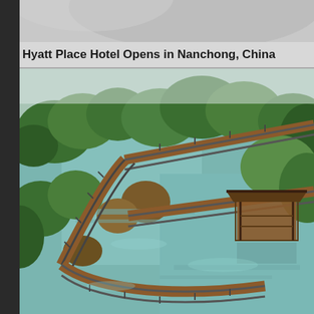Hyatt Place Hotel Opens in Nanchong, China
[Figure (photo): Aerial view of a wooden boardwalk/walkway winding through a flooded mangrove or wetland area with green trees. A covered pavilion structure is visible on the boardwalk. The water reflects the trees and sky. The scene is lush and naturalistic, photographed from above.]